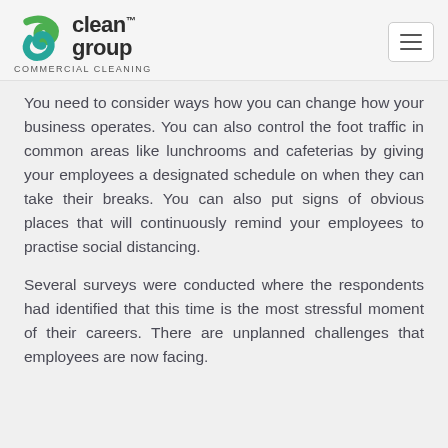[Figure (logo): Clean Group Commercial Cleaning logo with green and teal swirl icon, company name in dark text, and hamburger menu button on right]
You need to consider ways how you can change how your business operates. You can also control the foot traffic in common areas like lunchrooms and cafeterias by giving your employees a designated schedule on when they can take their breaks. You can also put signs of obvious places that will continuously remind your employees to practise social distancing.
Several surveys were conducted where the respondents had identified that this time is the most stressful moment of their careers. There are unplanned challenges that employees are now facing.